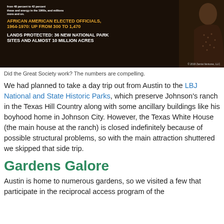[Figure (infographic): Dark background infographic with statistics about the Great Society program. Shows text: 'African American Elected Officials, 1964-1970: Up from 300 to 1,470' in gold, and 'Lands Protected: 36 New National Park Sites and Almost 10 Million Acres' in white. A photo of a person is on the right side. Copyright 2019 Zarnia Ventures, LLC.]
Did the Great Society work? The numbers are compelling.
We had planned to take a day trip out from Austin to the LBJ National and State Historic Parks, which preserve Johnson's ranch in the Texas Hill Country along with some ancillary buildings like his boyhood home in Johnson City. However, the Texas White House (the main house at the ranch) is closed indefinitely because of possible structural problems, so with the main attraction shuttered we skipped that side trip.
Gardens Galore
Austin is home to numerous gardens, so we visited a few that participate in the reciprocal access program of the